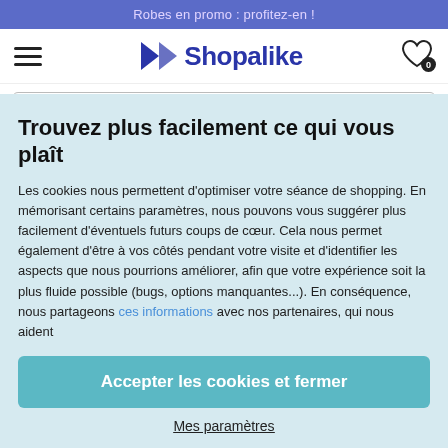Robes en promo : profitez-en !
[Figure (logo): Shopalike logo with hamburger menu, logo icon, and wishlist heart icon with badge 0]
[Figure (screenshot): Search bar with placeholder text: Cherchez parmi 580 boutiques !]
Sacs Disney
Trouvez plus facilement ce qui vous plaît
Les cookies nous permettent d'optimiser votre séance de shopping. En mémorisant certains paramètres, nous pouvons vous suggérer plus facilement d'éventuels futurs coups de cœur. Cela nous permet également d'être à vos côtés pendant votre visite et d'identifier les aspects que nous pourrions améliorer, afin que votre expérience soit la plus fluide possible (bugs, options manquantes...). En conséquence, nous partageons ces informations avec nos partenaires, qui nous aident
Accepter les cookies et fermer
Mes paramètres